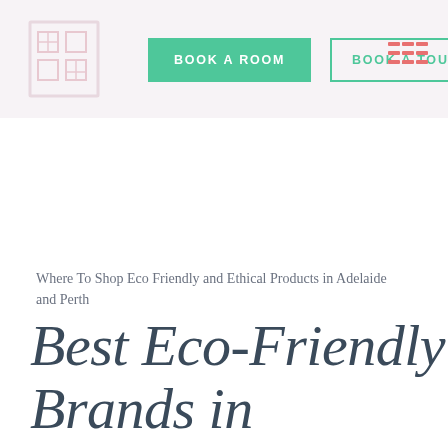[Figure (logo): Square logo with abstract geometric building/grid pattern in light pink/outline style]
[Figure (infographic): BOOK A ROOM green filled button]
[Figure (infographic): BOOK A TOUR green outlined button]
[Figure (infographic): Hamburger menu icon with pink/coral colored lines]
Where To Shop Eco Friendly and Ethical Products in Adelaide and Perth
Best Eco-Friendly Brands in Adelaide